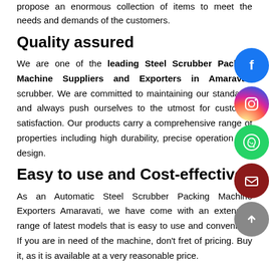propose an enormous collection of items to meet the needs and demands of the customers.
Quality assured
We are one of the leading Steel Scrubber Packing Machine Suppliers and Exporters in Amaravati scrubber. We are committed to maintaining our standards and always push ourselves to the utmost for customer satisfaction. Our products carry a comprehensive range of properties including high durability, precise operation and design.
Easy to use and Cost-effective
As an Automatic Steel Scrubber Packing Machine Exporters Amaravati, we have come with an extensive range of latest models that is easy to use and convenient. If you are in need of the machine, don't fret of pricing. Buy it, as it is available at a very reasonable price.